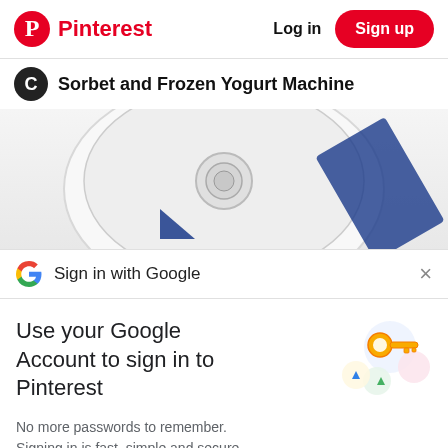Pinterest  Log in  Sign up
Sorbet and Frozen Yogurt Machine
[Figure (photo): Top-down view of a white ice cream/sorbet machine with a round lid and button]
Sign in with Google  ×
Use your Google Account to sign in to Pinterest
[Figure (illustration): Google sign-in illustration with a key and colorful circles]
No more passwords to remember.
Signing in is fast, simple and secure.
Continue